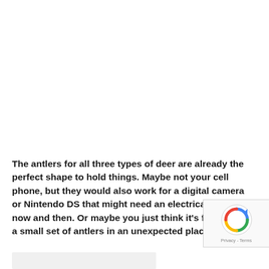The antlers for all three types of deer are already the perfect shape to hold things. Maybe not your cell phone, but they would also work for a digital camera or Nintendo DS that might need an electrical boost now and then. Or maybe you just think it's fun to have a small set of antlers in an unexpected place.